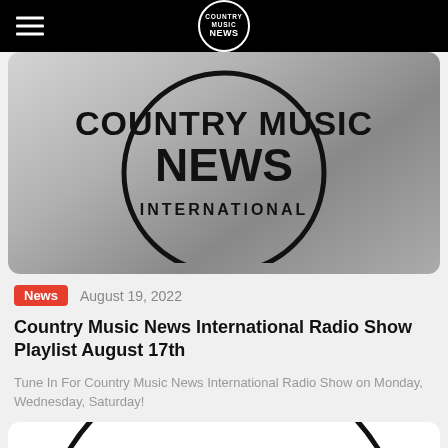COUNTRY MUSIC NEWS
[Figure (logo): Country Music News International logo on grey gradient background with large circular logo graphic]
News   August 19, 2022
Country Music News International Radio Show Playlist August 17th
Tune In For Country Music News International Radio Show on Monday, Wednesday, Saturday!
[Figure (logo): Country Music News International logo on white card background, partially visible at bottom]